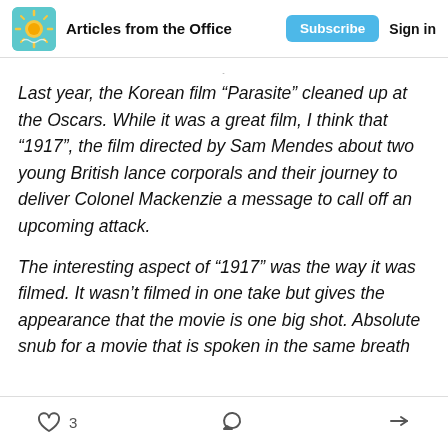Articles from the Office  Subscribe  Sign in
Last year, the Korean film “Parasite” cleaned up at the Oscars. While it was a great film, I think that “1917”, the film directed by Sam Mendes about two young British lance corporals and their journey to deliver Colonel Mackenzie a message to call off an upcoming attack.
The interesting aspect of “1917” was the way it was filmed. It wasn’t filmed in one take but gives the appearance that the movie is one big shot. Absolute snub for a movie that is spoken in the same breath
3  [comment icon]  [share icon]